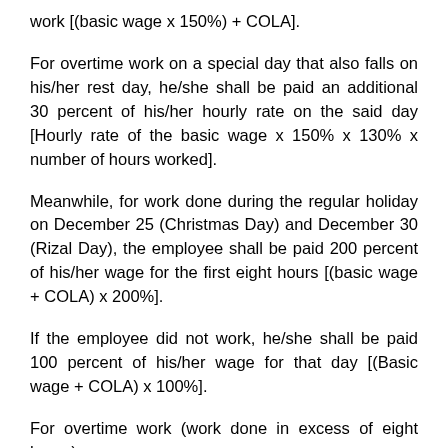work [(basic wage x 150%) + COLA].
For overtime work on a special day that also falls on his/her rest day, he/she shall be paid an additional 30 percent of his/her hourly rate on the said day [Hourly rate of the basic wage x 150% x 130% x number of hours worked].
Meanwhile, for work done during the regular holiday on December 25 (Christmas Day) and December 30 (Rizal Day), the employee shall be paid 200 percent of his/her wage for the first eight hours [(basic wage + COLA) x 200%].
If the employee did not work, he/she shall be paid 100 percent of his/her wage for that day [(Basic wage + COLA) x 100%].
For overtime work (work done in excess of eight hours),